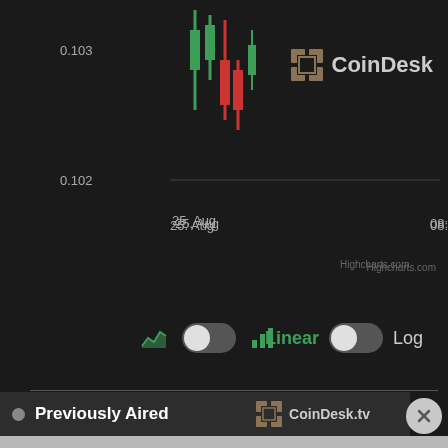[Figure (continuous-plot): Candlestick/OHLC chart fragment showing price around 0.102-0.103, with green and red candlestick wicks visible at top-left, x-axis labels: 25. Aug, 08:00, 16:00. Dark background. CoinDesk logo top right.]
Highcharts.com
[Figure (infographic): UI controls row: area chart icon (green), toggle switch (off position), bar chart icon (green). Then: Linear (green text), toggle switch (off), Log (grey text).]
Previously Aired
[Figure (logo): CoinDesk.tv logo with gold grid icon]